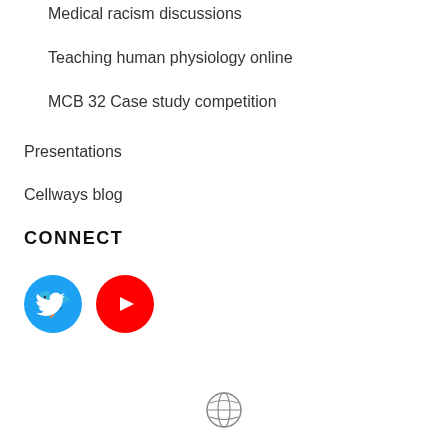Medical racism discussions
Teaching human physiology online
MCB 32 Case study competition
Presentations
Cellways blog
CONNECT
[Figure (logo): Twitter and YouTube social media icons]
[Figure (logo): WordPress logo at page bottom center]